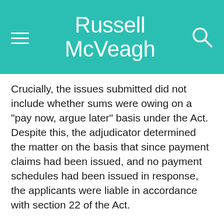Russell McVeagh
Crucially, the issues submitted did not include whether sums were owing on a "pay now, argue later" basis under the Act. Despite this, the adjudicator determined the matter on the basis that since payment claims had been issued, and no payment schedules had been issued in response, the applicants were liable in accordance with section 22 of the Act.
The Court quashed the decision on this basis. The case illustrates that where an adjudicator answers a question not put, and on which parties were not given the opportunity to make submissions, this can be the basis for a successful judicial review